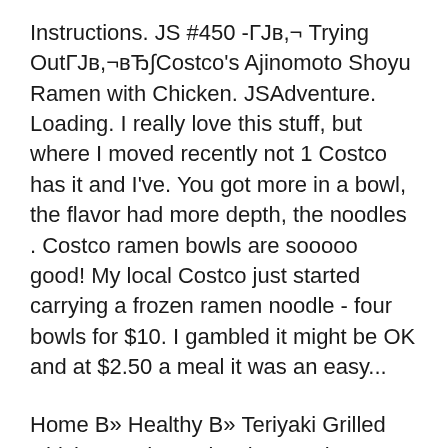Instructions. JS #450 -ГJв,¬ Trying OutГJв,¬вЂ∫Costco's Ajinomoto Shoyu Ramen with Chicken. JSAdventure. Loading. I really love this stuff, but where I moved recently not 1 Costco has it and I've. You got more in a bowl, the flavor had more depth, the noodles . Costco ramen bowls are sooooo good! My local Costco just started carrying a frozen ramen noodle - four bowls for $10. I gambled it might be OK and at $2.50 a meal it was an easy...
Home В» Healthy В» Teriyaki Grilled Chicken and Veggie Rice Bowls. perfectly delicious Teriyaki Grilled Chicken and Veggie Rice by Cooking вЂ¦ Introducing our new Organic Superfoods